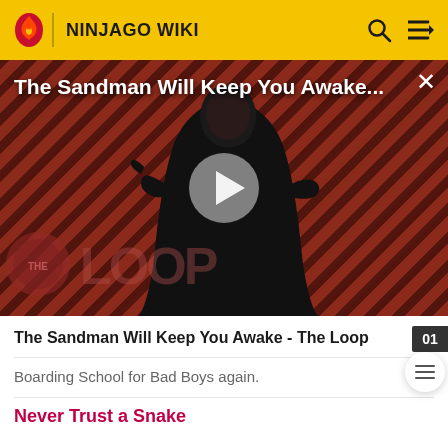NINJAGO WIKI
[Figure (screenshot): Video thumbnail showing a person in dark clothing against a red diagonal striped background with THE LOOP watermark and a play button in the center. Title reads: The Sandman Will Keep You Awake...]
The Sandman Will Keep You Awake - The Loop
Boarding School for Bad Boys again.
Never Trust a Snake